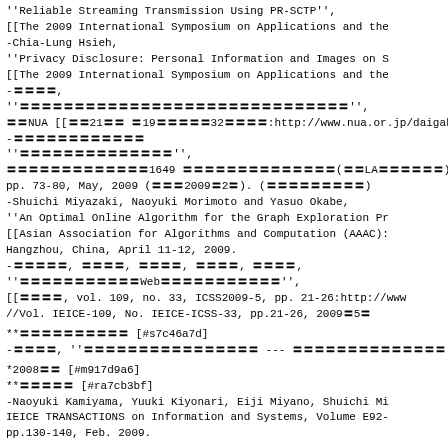''Reliable Streaming Transmission Using PR-SCTP'',
[[The 2009 International Symposium on Applications and the
-Chia-Lung Hsieh,
''Privacy Disclosure: Personal Information and Images on S
[[The 2009 International Symposium on Applications and the
-〓〓〓〓,
''〓〓〓〓〓〓〓〓〓〓〓〓〓〓〓〓〓〓〓〓〓〓〓〓〓〓〓〓〓〓'',
〓〓NUA [[〓〓21〓〓 〓19〓〓〓〓〓32〓〓〓〓:http://www.nua.or.jp/daigaku
-〓〓〓〓〓〓〓〓〓〓〓〓
''〓〓〓〓〓〓〓〓〓〓〓〓〓〓'',
〓〓〓〓〓〓〓〓〓〓〓〓〓1649 〓〓〓〓〓〓〓〓〓〓〓〓〓〓(〓〓LA〓〓〓〓〓〓),
pp. 73-80, May, 2009 (〓〓〓2009〓2〓). (〓〓〓〓〓〓〓〓〓)
-Shuichi Miyazaki, Naoyuki Morimoto and Yasuo Okabe,
''An Optimal Online Algorithm for the Graph Exploration Pr
[[Asian Association for Algorithms and Computation (AAAC):
Hangzhou, China, April 11-12, 2009.
-〓〓〓〓〓, 〓〓〓〓, 〓〓〓〓, 〓〓〓〓, 〓〓〓〓,
''〓〓〓〓〓〓〓〓〓〓〓Web〓〓〓〓〓〓〓〓〓〓〓'',
[[〓〓〓〓, vol. 109, no. 33, ICSS2009-5, pp. 21-26:http://www
//Vol. IEICE-109, No. IEICE-ICSS-33, pp.21-26, 2009〓5〓
**〓〓〓〓〓〓〓〓〓〓 [#s7c46a7d]
-〓〓〓〓, ''〓〓〓〓〓〓〓〓〓〓〓〓〓〓〓〓 --- 〓〓〓〓〓〓〓〓〓〓〓〓〓〓 ---'', 〓〓〓〓〓〓〓
*2008〓〓 [#m917d9a6]
**〓〓〓〓〓 [#ra7cb3bf]
-Naoyuki Kamiyama, Yuuki Kiyonari, Eiji Miyano, Shuichi Mi
IEICE TRANSACTIONS on Information and Systems, Volume E92-
pp.130-140, Feb. 2009.